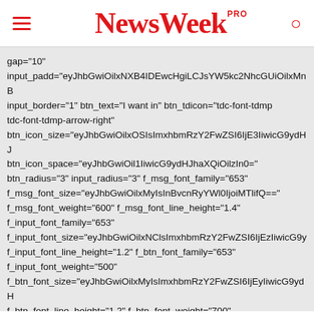NewsWeek PRO
gap="10"
input_padd="eyJhbGwiOilxNXB4IDEwcHgiLCJsYW5kc2NhcGUiOilxMnB
input_border="1" btn_text="I want in" btn_tdicon="tdc-font-tdmp
tdc-font-tdmp-arrow-right"
btn_icon_size="eyJhbGwiOilxOSIsImxhbmRzY2FwZSI6IjE3IiwicG9ydHJ
btn_icon_space="eyJhbGwiOil1IiwicG9ydHJhaXQiOilzIn0="
btn_radius="3" input_radius="3" f_msg_font_family="653"
f_msg_font_size="eyJhbGwiOilxMyIsInBvcnRyYWl0IjoiMTlifQ=="
f_msg_font_weight="600" f_msg_font_line_height="1.4"
f_input_font_family="653"
f_input_font_size="eyJhbGwiOilxNClsImxhbmRzY2FwZSI6IjEzIiwicG9y
f_input_font_line_height="1.2" f_btn_font_family="653"
f_input_font_weight="500"
f_btn_font_size="eyJhbGwiOilxMyIsImxhbmRzY2FwZSI6IjEyIiwicG9ydH
f_btn_font_line_height="1.2" f_btn_font_weight="700"
f_pp_font_family="653"
f_pp_font_size="eyJhbGwiOilxMyIsImxhbmRzY2FwZSI6IjEyIiwicG9ydH
f_pp_font_line_height="1.2" pp_check_color="#000000"